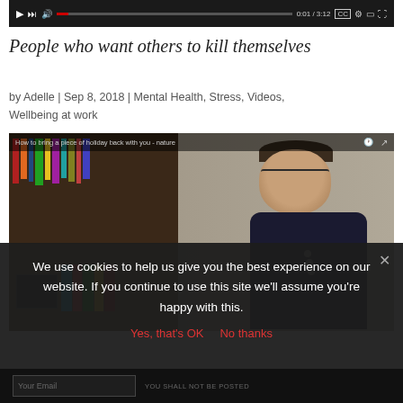[Figure (screenshot): Video player top bar with playback controls showing 0:01 / 3:12]
People who want others to kill themselves
by Adelle | Sep 8, 2018 | Mental Health, Stress, Videos, Wellbeing at work
[Figure (screenshot): Embedded YouTube video thumbnail showing a woman with short hair, glasses, and dark shirt sitting at a desk with bookshelves behind her. Video title bar reads: 'How to bring a piece of holiday back with you - nature']
We use cookies to help us give you the best experience on our website. If you continue to use this site we'll assume you're happy with this.